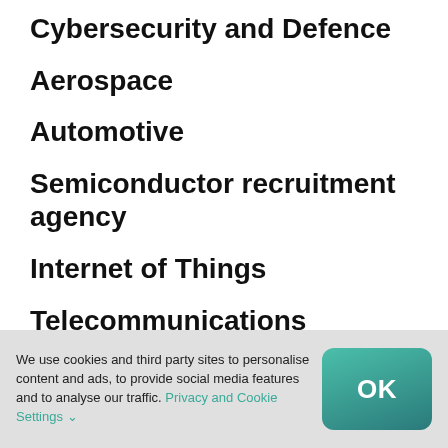Cybersecurity and Defence
Aerospace
Automotive
Semiconductor recruitment agency
Internet of Things
Telecommunications
We use cookies and third party sites to personalise content and ads, to provide social media features and to analyse our traffic. Privacy and Cookie Settings